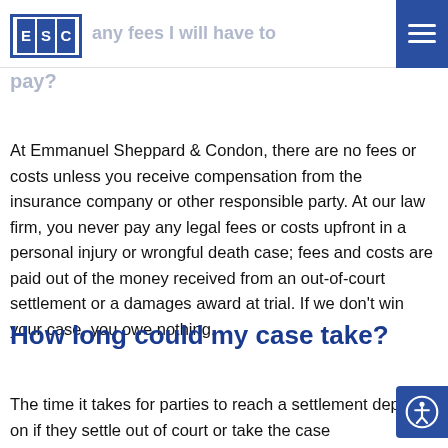ESC | any fees I will have to pay?
pay?
At Emmanuel Sheppard & Condon, there are no fees or costs unless you receive compensation from the insurance company or other responsible party. At our law firm, you never pay any legal fees or costs upfront in a personal injury or wrongful death case; fees and costs are paid out of the money received from an out-of-court settlement or a damages award at trial. If we don't win your case, you owe nothing.
How long could my case take?
The time it takes for parties to reach a settlement depends on if they settle out of court or take the case